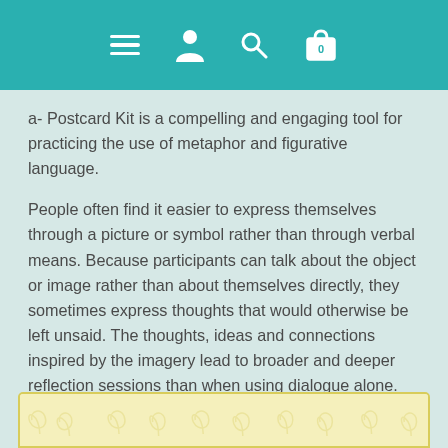[Figure (screenshot): Teal navigation header bar with hamburger menu icon, person/user icon, search icon, and shopping bag icon with 0 badge]
a- Postcard Kit is a compelling and engaging tool for practicing the use of metaphor and figurative language.
People often find it easier to express themselves through a picture or symbol rather than through verbal means. Because participants can talk about the object or image rather than about themselves directly, they sometimes express thoughts that would otherwise be left unsaid. The thoughts, ideas and connections inspired by the imagery lead to broader and deeper reflection sessions than when using dialogue alone.
[Figure (illustration): Bottom portion of a decorative card with pale yellow background and swirling pattern designs]